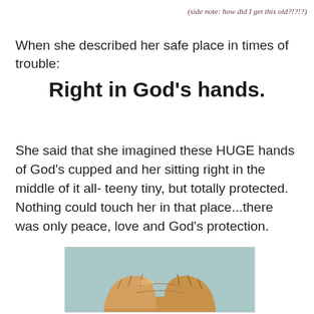(side note:  how did I get this old?!?!?)
When she described her safe place in times of trouble:
Right in God's hands.
She said that she imagined these HUGE hands of God's cupped and her sitting right in the middle of it all- teeny tiny, but totally protected.  Nothing could touch her in that place...there was only peace, love and God's protection.
[Figure (illustration): Illustration of two cupped hands clasped together, rendered in colored pencil style against a light blue background, suggesting protection and prayer.]